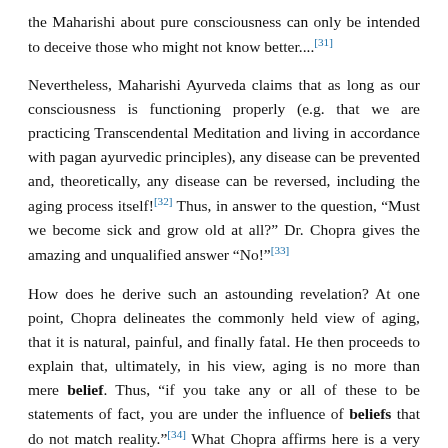the Maharishi about pure consciousness can only be intended to deceive those who might not know better....[31]
Nevertheless, Maharishi Ayurveda claims that as long as our consciousness is functioning properly (e.g. that we are practicing Transcendental Meditation and living in accordance with pagan ayurvedic principles), any disease can be prevented and, theoretically, any disease can be reversed, including the aging process itself![32] Thus, in answer to the question, “Must we become sick and grow old at all?” Dr. Chopra gives the amazing and unqualified answer “No!”[33]
How does he derive such an astounding revelation? At one point, Chopra delineates the commonly held view of aging, that it is natural, painful, and finally fatal. He then proceeds to explain that, ultimately, in his view, aging is no more than mere belief. Thus, “if you take any or all of these to be statements of fact, you are under the influence of beliefs that do not match reality.”[34] What Chopra affirms here is a very radical shift in world view “which makes disease and infirm old age unacceptable.”[35] For example: “Although everyone falls prey to the aging process, no one has ever proved that it is necessary.... Aging is not natural at all. Maharishi Ayurveda operates on this